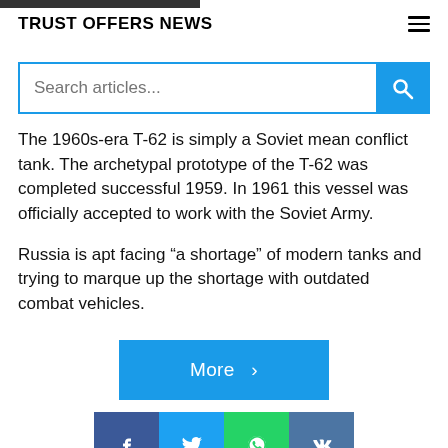TRUST OFFERS NEWS
[Figure (screenshot): Search bar with blue border and blue search button with magnifying glass icon]
The 1960s-era T-62 is simply a Soviet mean conflict tank. The archetypal prototype of the T-62 was completed successful 1959. In 1961 this vessel was officially accepted to work with the Soviet Army.
Russia is apt facing “a shortage” of modern tanks and trying to marque up the shortage with outdated combat vehicles.
[Figure (screenshot): Blue 'More >' button]
[Figure (screenshot): Social share buttons: Facebook (dark blue), Twitter (light blue), WhatsApp (green), VK (medium blue)]